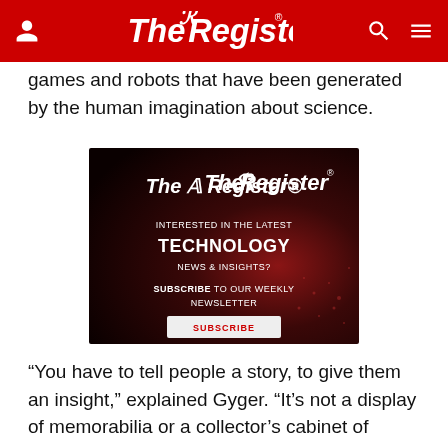The Register
games and robots that have been generated by the human imagination about science.
[Figure (illustration): The Register newsletter advertisement banner with dark red background. Shows The Register logo at top, text 'INTERESTED IN THE LATEST TECHNOLOGY NEWS & INSIGHTS? SUBSCRIBE TO OUR WEEKLY NEWSLETTER' and a white SUBSCRIBE button.]
“You have to tell people a story, to give them an insight,” explained Gyger. “It’s not a display of memorabilia or a collector’s cabinet of curiosities